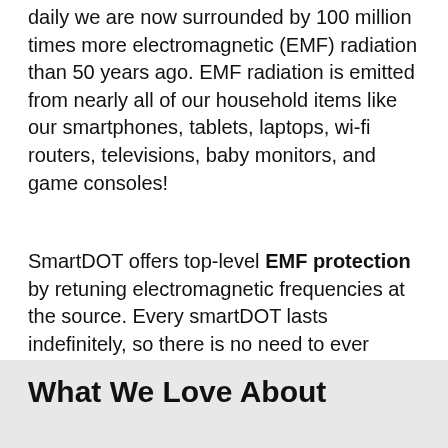daily we are now surrounded by 100 million times more electromagnetic (EMF) radiation than 50 years ago. EMF radiation is emitted from nearly all of our household items like our smartphones, tablets, laptops, wi-fi routers, televisions, baby monitors, and game consoles!
SmartDOT offers top-level EMF protection by retuning electromagnetic frequencies at the source. Every smartDOT lasts indefinitely, so there is no need to ever replace or upgrade it.
What We Love About sDOT